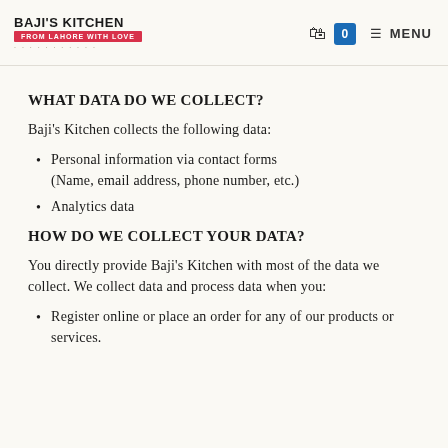BAJI'S KITCHEN FROM LAHORE WITH LOVE | MENU 0
WHAT DATA DO WE COLLECT?
Baji's Kitchen collects the following data:
Personal information via contact forms (Name, email address, phone number, etc.)
Analytics data
HOW DO WE COLLECT YOUR DATA?
You directly provide Baji's Kitchen with most of the data we collect. We collect data and process data when you:
Register online or place an order for any of our products or services.